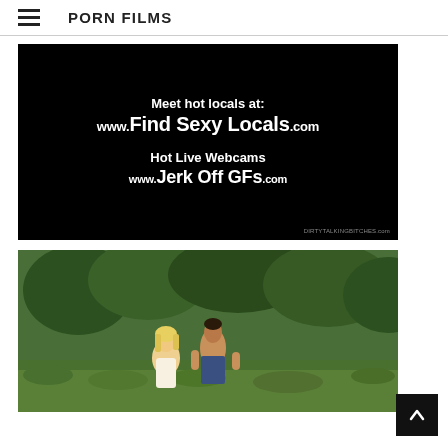PORN FILMS
[Figure (other): Advertisement image with black background showing text: 'Meet hot locals at: www.FindSexyLocals.com' and 'Hot Live Webcams www.JerkOffGFs.com' with watermark 'DIRTYTALKINGBITCHES.com']
[Figure (photo): Outdoor video thumbnail showing two people in a wooded/grassy area]